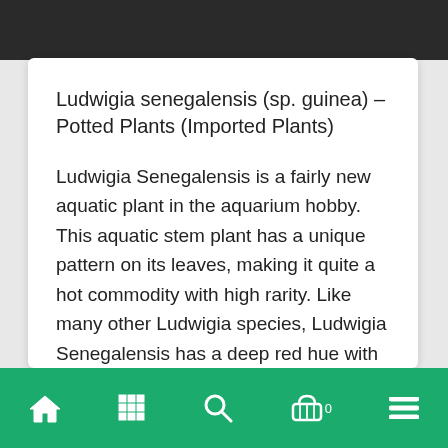Ludwigia senegalensis (sp. guinea) – Potted Plants (Imported Plants)
Ludwigia Senegalensis is a fairly new aquatic plant in the aquarium hobby. This aquatic stem plant has a unique pattern on its leaves, making it quite a hot commodity with high rarity. Like many other Ludwigia species, Ludwigia Senegalensis has a deep red hue with a green vein and lighter colored veins
Navigation bar with home, grid, search, cart (0), and menu icons